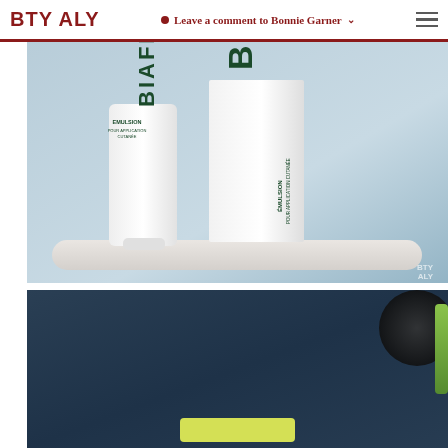BTY ALY — Leave a comment to Bonnie Garner
[Figure (photo): Biafine Emulsion tube and box product shot on a marble tray against a light blue background]
[Figure (photo): Dark blue background with partial view of products including a yellow block shape, dark circular object and green strip]